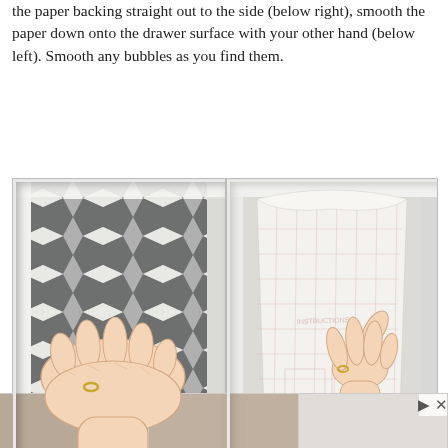the paper backing straight out to the side (below right), smooth the paper down onto the drawer surface with your other hand (below left). Smooth any bubbles as you find them.
[Figure (photo): Two side-by-side photos in a drawer liner tutorial. Left photo shows a hand smoothing gray and white chevron-patterned contact paper flat inside a white drawer. Right photo shows a hand peeling back the paper backing (grid-printed) of the contact paper away from the drawer, revealing the adhesive side.]
[Figure (photo): Bottom strip of three partially visible thumbnail images, the third (rightmost) showing navigation arrows.]